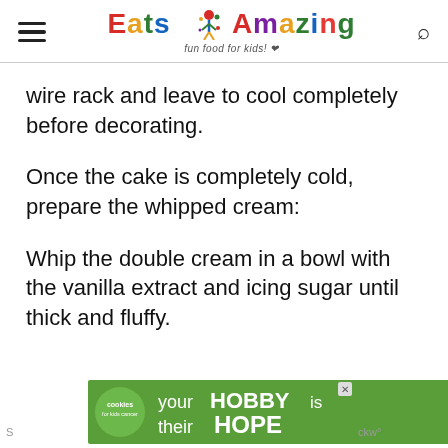Eats Amazing — fun food for kids!
wire rack and leave to cool completely before decorating.
Once the cake is completely cold, prepare the whipped cream:
Whip the double cream in a bowl with the vanilla extract and icing sugar until thick and fluffy.
[Figure (screenshot): Advertisement banner: cookies for kids cancer charity with text 'your HOBBY is their HOPE']